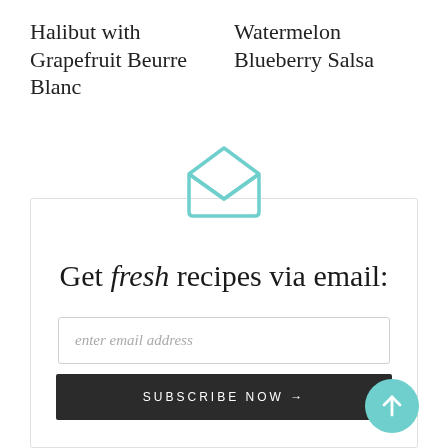Halibut with Grapefruit Beurre Blanc
Watermelon Blueberry Salsa
[Figure (illustration): Open envelope icon in teal/mint color outline style]
Get fresh recipes via email:
enter email address
SUBSCRIBE NOW →